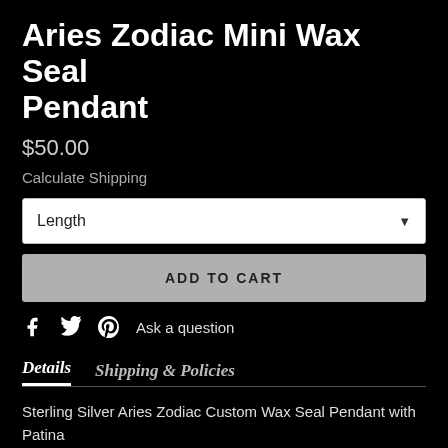Aries Zodiac Mini Wax Seal Pendant
$50.00
Calculate Shipping
Length (dropdown)
ADD TO CART
Ask a question
Details    Shipping & Policies
Sterling Silver Aries Zodiac Custom Wax Seal Pendant with Patina